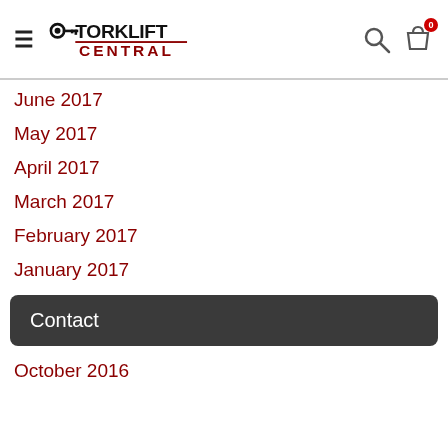Torklift Central
June 2017
May 2017
April 2017
March 2017
February 2017
January 2017
Contact
October 2016